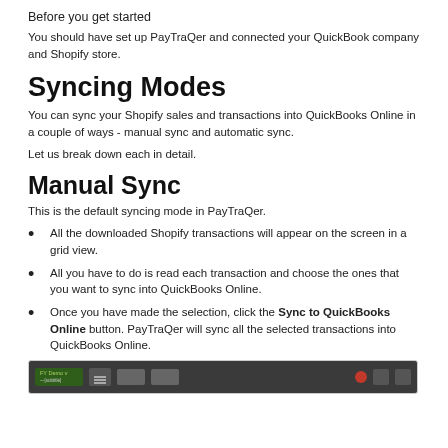Before you get started
You should have set up PayTraQer and connected your QuickBook company and Shopify store.
Syncing Modes
You can sync your Shopify sales and transactions into QuickBooks Online in a couple of ways - manual sync and automatic sync.
Let us break down each in detail.
Manual Sync
This is the default syncing mode in PayTraQer.
All the downloaded Shopify transactions will appear on the screen in a grid view.
All you have to do is read each transaction and choose the ones that you want to sync into QuickBooks Online.
Once you have made the selection, click the Sync to QuickBooks Online button. PayTraQer will sync all the selected transactions into QuickBooks Online.
[Figure (screenshot): Screenshot of PayTraQer interface showing a grid view with navigation bar]